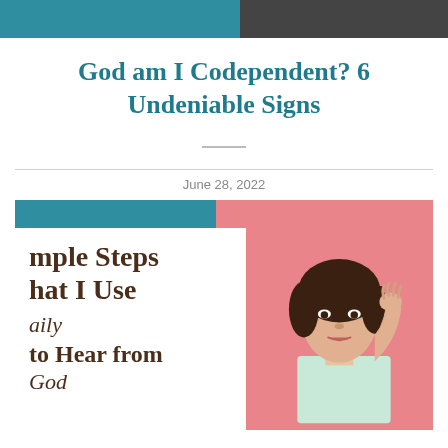[Figure (photo): Top banner with teal left portion and dark gray/black right portion]
God am I Codependent? 6 Undeniable Signs
June 28, 2022
[Figure (illustration): Promotional image with teal and pink top bar, serif text partially visible reading 'mple Steps hat I Use aily to Hear from God' on white left panel, and a photo of a woman with dark hair holding her hand to her ear on a pink background on the right]